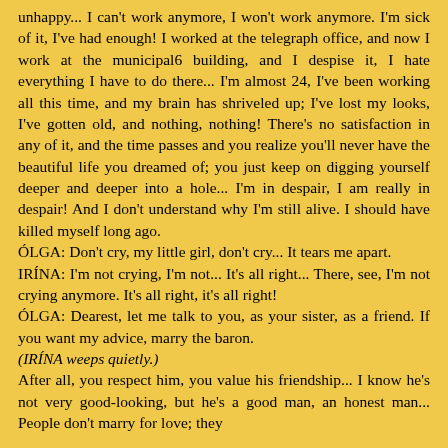unhappy... I can't work anymore, I won't work anymore. I'm sick of it, I've had enough! I worked at the telegraph office, and now I work at the municipal6 building, and I despise it, I hate everything I have to do there... I'm almost 24, I've been working all this time, and my brain has shriveled up; I've lost my looks, I've gotten old, and nothing, nothing! There's no satisfaction in any of it, and the time passes and you realize you'll never have the beautiful life you dreamed of; you just keep on digging yourself deeper and deeper into a hole... I'm in despair, I am really in despair! And I don't understand why I'm still alive. I should have killed myself long ago.
ÓLGA: Don't cry, my little girl, don't cry... It tears me apart.
IRÍNA: I'm not crying, I'm not... It's all right... There, see, I'm not crying anymore. It's all right, it's all right!
ÓLGA: Dearest, let me talk to you, as your sister, as a friend. If you want my advice, marry the baron.
(IRÍNA weeps quietly.)
After all, you respect him, you value his friendship... I know he's not very good-looking, but he's a good man, an honest man... People don't marry for love; they